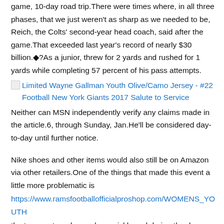game, 10-day road trip.There were times where, in all three phases, that we just weren't as sharp as we needed to be, Reich, the Colts' second-year head coach, said after the game.That exceeded last year's record of nearly $30 billion.◆?As a junior, threw for 2 yards and rushed for 1 yards while completing 57 percent of his pass attempts.
[Figure (other): Broken image icon followed by hyperlink text: Limited Wayne Gallman Youth Olive/Camo Jersey - #22 Football New York Giants 2017 Salute to Service]
Neither can MSN independently verify any claims made in the article.6, through Sunday, Jan.He'll be considered day-to-day until further notice.
Nike shoes and other items would also still be on Amazon via other retailers.One of the things that made this event a little more problematic is
https://www.ramsfootballofficialproshop.com/WOMENS_YOUTH
the temperature dropped so quickly and during the day